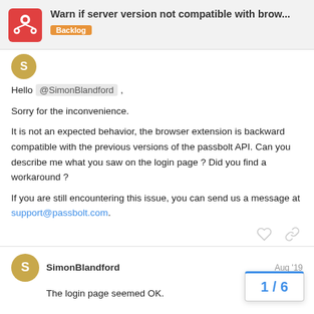Warn if server version not compatible with brow... | Backlog
Hello @SimonBlandford ,

Sorry for the inconvenience.

It is not an expected behavior, the browser extension is backward compatible with the previous versions of the passbolt API. Can you describe me what you saw on the login page ? Did you find a workaround ?

If you are still encountering this issue, you can send us a message at support@passbolt.com.
SimonBlandford — Aug '19
The login page seemed OK.
1 / 6